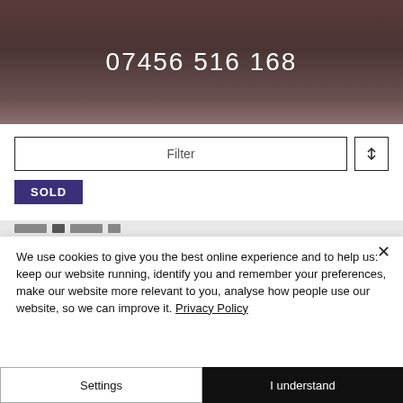[Figure (photo): Dark brownish-reddish blurred photo background showing a phone number 07456 516 168 in white text]
07456 516 168
[Figure (screenshot): Filter input box with text 'Filter' and a sort icon button with up/down arrows]
SOLD
We use cookies to give you the best online experience and to help us: keep our website running, identify you and remember your preferences, make our website more relevant to you, analyse how people use our website, so we can improve it. Privacy Policy
Settings
I understand